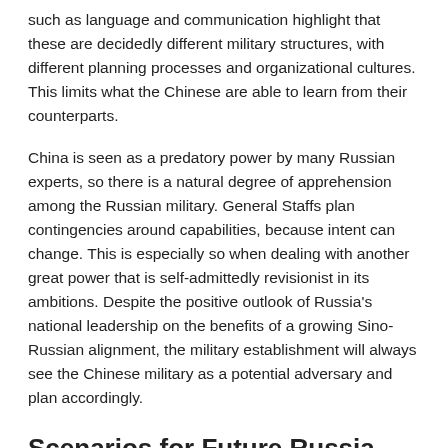such as language and communication highlight that these are decidedly different military structures, with different planning processes and organizational cultures. This limits what the Chinese are able to learn from their counterparts.
China is seen as a predatory power by many Russian experts, so there is a natural degree of apprehension among the Russian military. General Staffs plan contingencies around capabilities, because intent can change. This is especially so when dealing with another great power that is self-admittedly revisionist in its ambitions. Despite the positive outlook of Russia's national leadership on the benefits of a growing Sino-Russian alignment, the military establishment will always see the Chinese military as a potential adversary and plan accordingly.
Scenarios for Future Russia-China Military Cooperation